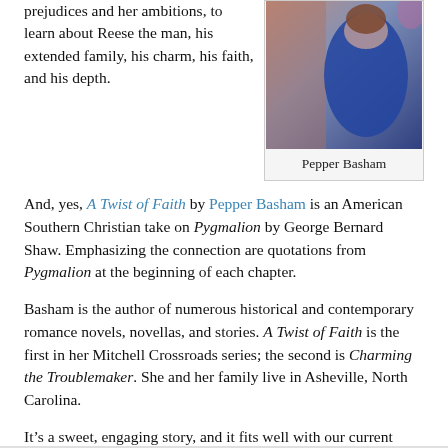prejudices and her ambitions, to learn about Reese the man, his extended family, his charm, his faith, and his depth.
[Figure (photo): Photo of Pepper Basham, a woman in a blue dress standing against a textured background.]
Pepper Basham
And, yes, A Twist of Faith by Pepper Basham is an American Southern Christian take on Pygmalion by George Bernard Shaw. Emphasizing the connection are quotations from Pygmalion at the beginning of each chapter.
Basham is the author of numerous historical and contemporary romance novels, novellas, and stories. A Twist of Faith is the first in her Mitchell Crossroads series; the second is Charming the Troublemaker. She and her family live in Asheville, North Carolina.
It’s a sweet, engaging story, and it fits well with our current national conversation about coastal America and flyover country and the prejudices of the educated classes.